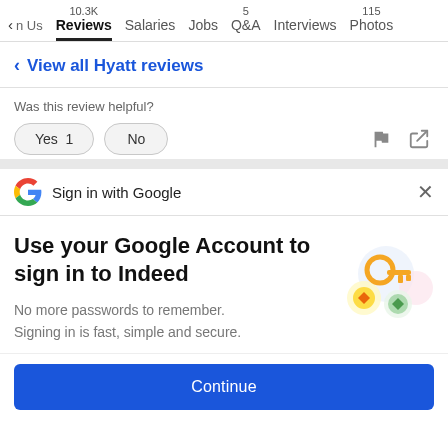n Us  Reviews 10.3K  Salaries  Jobs  Q&A 5  Interviews  Photos 115
< View all Hyatt reviews
Was this review helpful?
Yes 1    No
Sign in with Google
Use your Google Account to sign in to Indeed
No more passwords to remember. Signing in is fast, simple and secure.
Continue